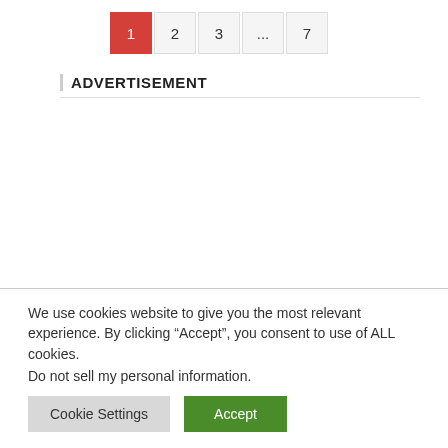1  2  3  ...  7
ADVERTISEMENT
We use cookies website to give you the most relevant experience. By clicking “Accept”, you consent to use of ALL cookies.
Do not sell my personal information.
Cookie Settings  Accept